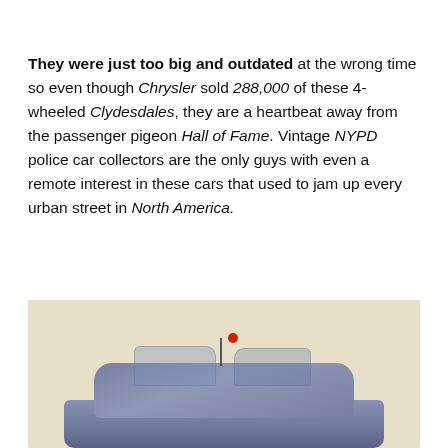They were just too big and outdated at the wrong time so even though Chrysler sold 288,000 of these 4-wheeled Clydesdales, they are a heartbeat away from the passenger pigeon Hall of Fame. Vintage NYPD police car collectors are the only guys with even a remote interest in these cars that used to jam up every urban street in North America.
[Figure (photo): A toy or model police car photographed from above at an angle, showing the roof with a red light and antenna. The car has a blue-gray metallic finish. The background is a warm beige/cream color.]